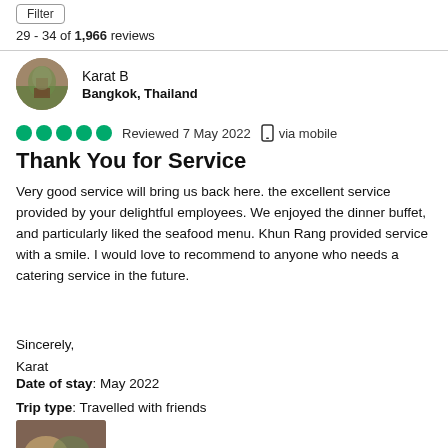Filter
29 - 34 of 1,966 reviews
Karat B
Bangkok, Thailand
Reviewed 7 May 2022  via mobile
Thank You for Service
Very good service will bring us back here. the excellent service provided by your delightful employees. We enjoyed the dinner buffet, and particularly liked the seafood menu. Khun Rang provided service with a smile. I would love to recommend to anyone who needs a catering service in the future.

Sincerely,
Karat
Date of stay: May 2022
Trip type: Travelled with friends
[Figure (photo): Food photo thumbnail showing a plate of seafood/food items]